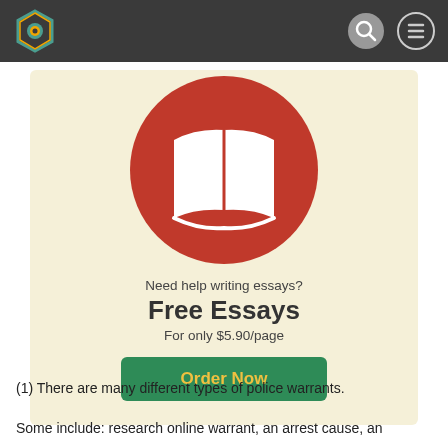[Figure (logo): Website navigation bar with a hexagonal logo icon on the left and search and menu icons on the right, dark gray background]
[Figure (illustration): Open book icon (white) centered on a large red circle, serving as the top graphic of a promotional card with a cream/beige background]
Need help writing essays?
Free Essays
For only $5.90/page
Order Now
(1) There are many different types of police warrants.
Some include: research online warrant, an arrest cause, an